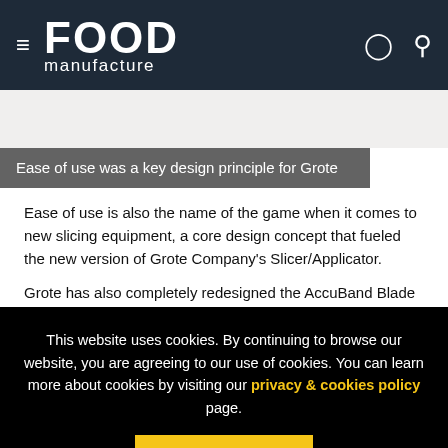FOOD manufacture
[Figure (photo): Partial view of food slicing equipment or related imagery, light grey background]
Ease of use was a key design principle for Grote
Ease of use is also the name of the game when it comes to new slicing equipment, a core design concept that fueled the new version of Grote Company’s Slicer/Applicator.
Grote has also completely redesigned the AccuBand Blade
This website uses cookies. By continuing to browse our website, you are agreeing to our use of cookies. You can learn more about cookies by visiting our privacy & cookies policy page.